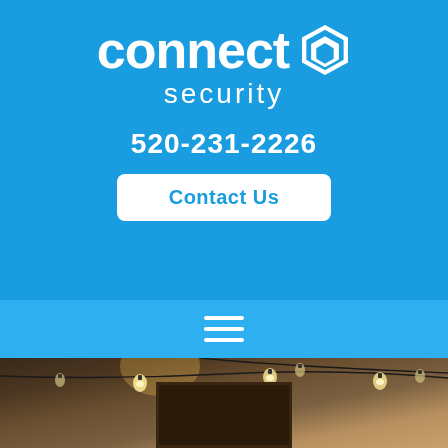[Figure (logo): Connect Security logo with hexagon shield icon in white on blue background, with phone number 520-231-2226 and Contact Us button]
[Figure (photo): Interior restaurant/cafe scene with string lights hanging across the ceiling and a dark chalkboard sign below]